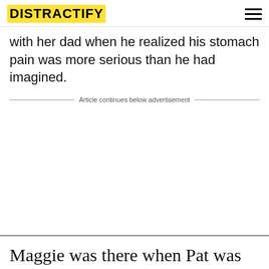DISTRACTIFY
with her dad when he realized his stomach pain was more serious than he had imagined.
Article continues below advertisement
Maggie was there when Pat was